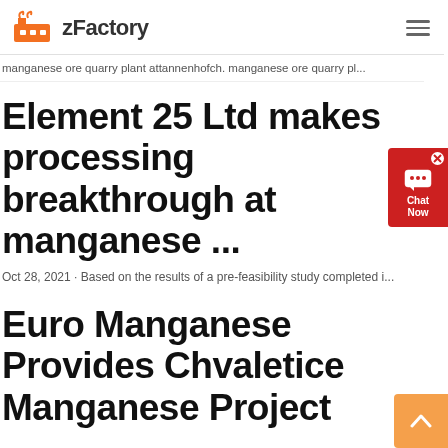zFactory
manganese ore quarry plant attannenhofch. manganese ore quarry pl...
Element 25 Ltd makes processing breakthrough at manganese ...
Oct 28, 2021 · Based on the results of a pre-feasibility study completed i...
Euro Manganese Provides Chvaletice Manganese Project